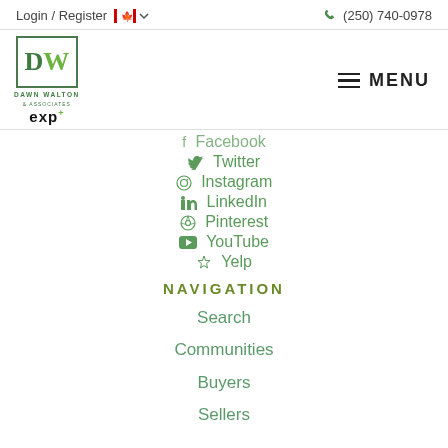Login / Register   (250) 740-0978
[Figure (logo): DW Dawn Walton & Associates eXp Realty logo]
Facebook
Twitter
Instagram
LinkedIn
Pinterest
YouTube
Yelp
NAVIGATION
Search
Communities
Buyers
Sellers